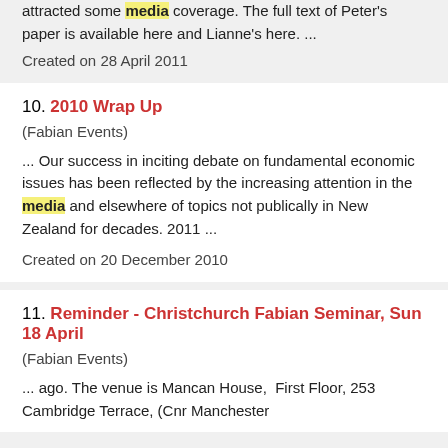attracted some media coverage. The full text of Peter's paper is available here and Lianne's here. ...
Created on 28 April 2011
10. 2010 Wrap Up
(Fabian Events)
... Our success in inciting debate on fundamental economic issues has been reflected by the increasing attention in the media and elsewhere of topics not publically in New Zealand for decades. 2011 ...
Created on 20 December 2010
11. Reminder - Christchurch Fabian Seminar, Sun 18 April
(Fabian Events)
... ago. The venue is Mancan House,  First Floor, 253 Cambridge Terrace, (Cnr Manchester